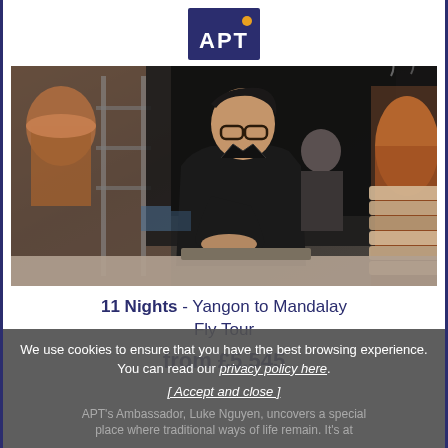[Figure (logo): APT travel company logo — dark navy blue rectangle with white 'APT' text and an orange dot above the A]
[Figure (photo): A chef in a black outfit and glasses leans over a work surface in a kitchen setting with copper equipment and steamer baskets visible]
11 Nights - Yangon to Mandalay Fly Tour
from £5,545
We use cookies to ensure that you have the best browsing experience. You can read our privacy policy here. [ Accept and close ]
APT's Ambassador, Luke Nguyen, uncovers a special place where traditional ways of life remain. It's at